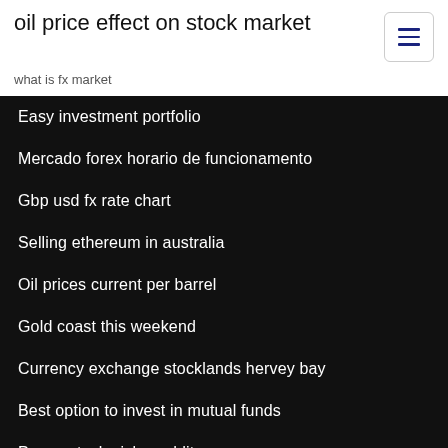oil price effect on stock market
what is fx market
Easy investment portfolio
Mercado forex horario de funcionamento
Gbp usd fx rate chart
Selling ethereum in australia
Oil prices current per barrel
Gold coast this weekend
Currency exchange stocklands hervey bay
Best option to invest in mutual funds
Penny stock picks reddit
How to buy and sell bitcoin on paxful